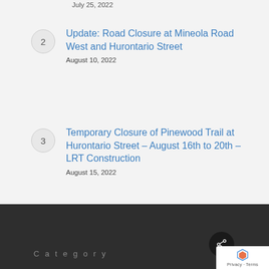July 25, 2022
Update: Road Closure at Mineola Road West and Hurontario Street
August 10, 2022
Temporary Closure of Pinewood Trail at Hurontario Street – August 16th to 20th – LRT Construction
August 15, 2022
Category